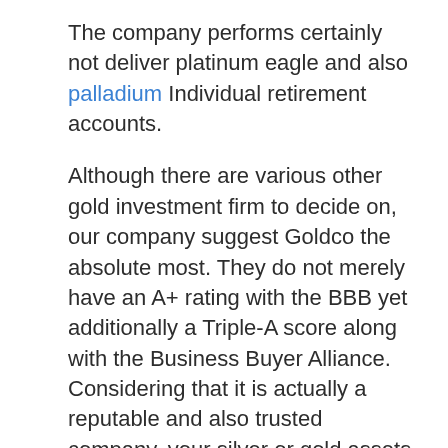The company performs certainly not deliver platinum eagle and also palladium Individual retirement accounts.
Although there are various other gold investment firm to decide on, our company suggest Goldco the absolute most. They do not merely have an A+ rating with the BBB yet additionally a Triple-A score along with the Business Buyer Alliance. Considering that it is actually a reputable and also trusted company, your silver or gold assets along with them can easily certainly not go wrong.
Goldco concentrates on rare-earth elements Individual retirement accounts, particularly gold and silver Individual retirement